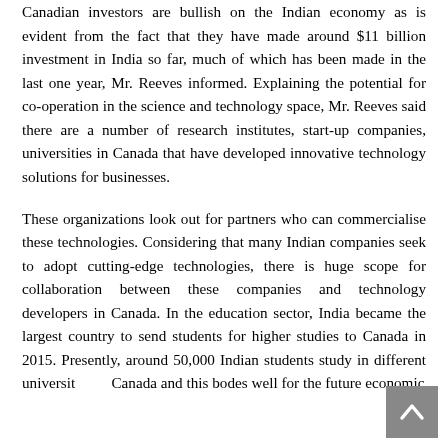Canadian investors are bullish on the Indian economy as is evident from the fact that they have made around $11 billion investment in India so far, much of which has been made in the last one year, Mr. Reeves informed. Explaining the potential for co-operation in the science and technology space, Mr. Reeves said there are a number of research institutes, start-up companies, universities in Canada that have developed innovative technology solutions for businesses.
These organizations look out for partners who can commercialise these technologies. Considering that many Indian companies seek to adopt cutting-edge technologies, there is huge scope for collaboration between these companies and technology developers in Canada. In the education sector, India became the largest country to send students for higher studies to Canada in 2015. Presently, around 50,000 Indian students study in different universities in Canada and this bodes well for the future economic